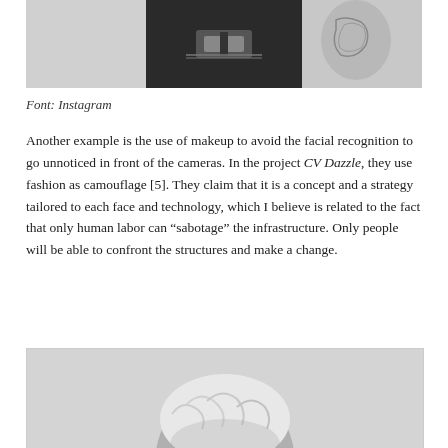[Figure (photo): Black and white photo showing a person from torso down wearing a dark outfit with a large buckle belt and visible tattoo on arm]
Font: Instagram
Another example is the use of makeup to avoid the facial recognition to go unnoticed in front of the cameras. In the project CV Dazzle, they use fashion as camouflage [5]. They claim that it is a concept and a strategy tailored to each face and technology, which I believe is related to the fact that only human labor can “sabotage” the infrastructure. Only people will be able to confront the structures and make a change.
[Figure (photo): Black and white photo of a person with short light-colored hair, partially cropped]